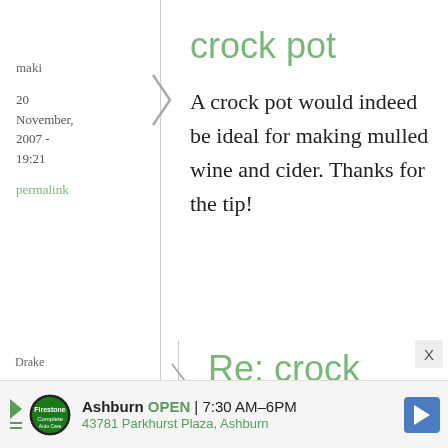maki
20 November, 2007 - 19:21
permalink
crock pot
A crock pot would indeed be ideal for making mulled wine and cider. Thanks for the tip!
Drake
9 December,
Re: crock
[Figure (other): Advertisement bar: Ashburn OPEN 7:30AM-6PM, 43781 Parkhurst Plaza, Ashburn]